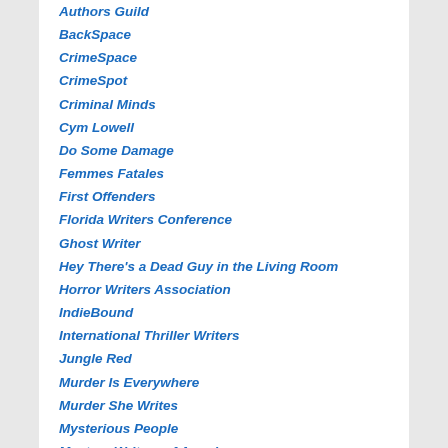Authors Guild
BackSpace
CrimeSpace
CrimeSpot
Criminal Minds
Cym Lowell
Do Some Damage
Femmes Fatales
First Offenders
Florida Writers Conference
Ghost Writer
Hey There's a Dead Guy in the Living Room
Horror Writers Association
IndieBound
International Thriller Writers
Jungle Red
Murder Is Everywhere
Murder She Writes
Mysterious People
Mystery Writers of America
Naked Authors
Nancy's Notes From Florida
Newbie's Guide to Publishing
Novelists Inc